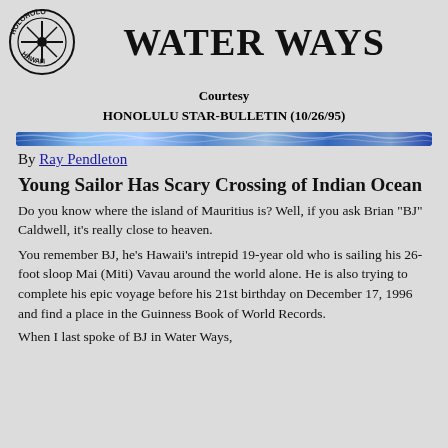[Figure (logo): Holoholo Hawaii circular logo with ship wheel in center and text around the perimeter]
WATER WAYS
Courtesy
HONOLULU STAR-BULLETIN (10/26/95)
[Figure (illustration): Decorative blue wave/water horizontal bar]
By Ray Pendleton
Young Sailor Has Scary Crossing of Indian Ocean
Do you know where the island of Mauritius is? Well, if you ask Brian "BJ" Caldwell, it's really close to heaven.
You remember BJ, he's Hawaii's intrepid 19-year old who is sailing his 26-foot sloop Mai (Miti) Vavau around the world alone. He is also trying to complete his epic voyage before his 21st birthday on December 17, 1996 and find a place in the Guinness Book of World Records.
When I last spoke of BJ in Water Ways, ...